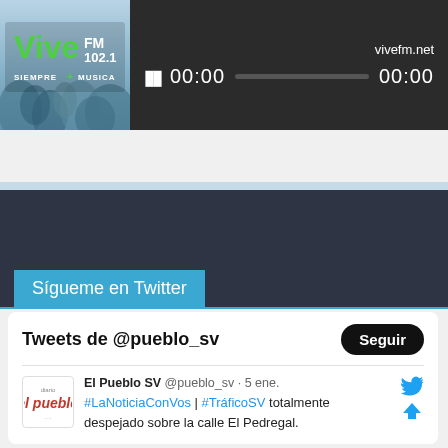[Figure (screenshot): Vive FM 102.1 radio player widget with logo, pause button, progress bar showing 00:00 / 00:00, and vivefm.net URL]
Sígueme en Twitter
[Figure (screenshot): Twitter widget showing Tweets de @pueblo_sv with Seguir button and a tweet from El Pueblo SV @pueblo_sv on 5 ene. with text #LaNoticiaConVos | #TráficoSV totalmente despejado sobre la calle El Pedregal.]